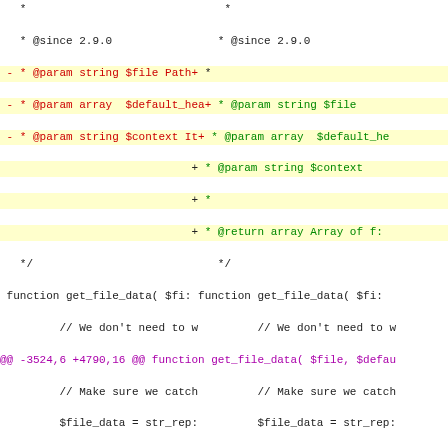[Figure (screenshot): A unified diff view showing code changes to a PHP function get_file_data, with two columns (old and new). Red lines show removed content, green lines show added content, and magenta lines show hunk headers. The diff includes PHPDoc block changes and new filter function documentation.]